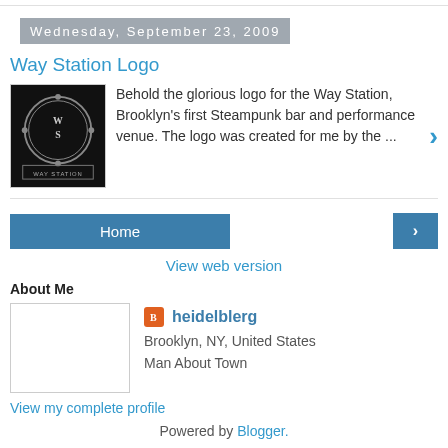Wednesday, September 23, 2009
Way Station Logo
Behold the glorious logo for the Way Station, Brooklyn's first Steampunk bar and performance venue. The logo was created for me by the ...
Home
View web version
About Me
heidelblerg
Brooklyn, NY, United States
Man About Town
View my complete profile
Powered by Blogger.